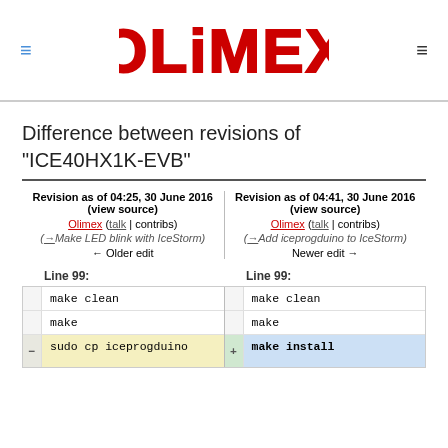Olimex logo with navigation
Difference between revisions of "ICE40HX1K-EVB"
| Revision as of 04:25, 30 June 2016 (view source) | Revision as of 04:41, 30 June 2016 (view source) |
| --- | --- |
| Olimex (talk | contribs) | Olimex (talk | contribs) |
| (→Make LED blink with IceStorm) | (→Add iceprogduino to IceStorm) |
| ← Older edit | Newer edit → |
| Line 99: | Line 99: |
| --- | --- |
| make clean | make clean |
| make | make |
| - sudo cp iceprogduino | + make install |